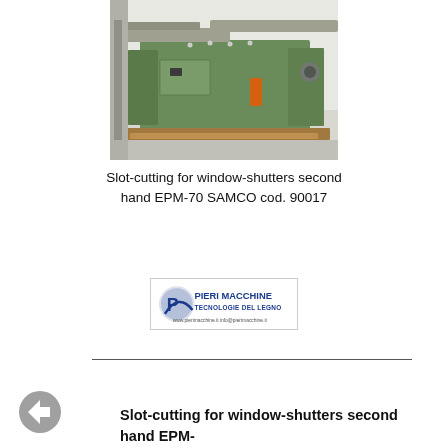[Figure (photo): Photograph of a green industrial slot-cutting machine (EPM-70 SAMCO) for window-shutters, second hand, shown on a pallet in a workshop setting.]
Slot-cutting for window-shutters second hand EPM-70 SAMCO cod. 90017
[Figure (logo): Pieri Macchine logo — Tecnologie del Legno, with website www.pierimacchine.it and email info@pierimacchine.it]
Slot-cutting for window-shutters second hand EPM-